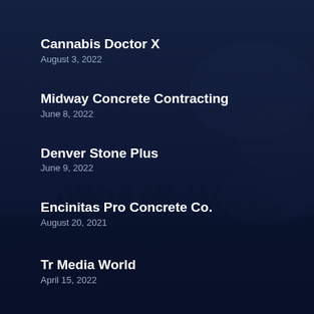Cannabis Doctor X
August 3, 2022
Midway Concrete Contracting
June 8, 2022
Denver Stone Plus
June 9, 2022
Encinitas Pro Concrete Co.
August 20, 2021
Tr Media World
April 15, 2022